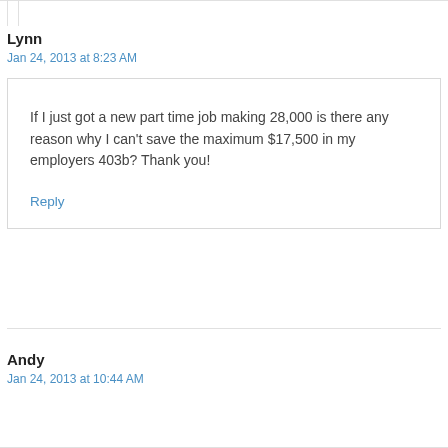Lynn
Jan 24, 2013 at 8:23 AM
If I just got a new part time job making 28,000 is there any reason why I can't save the maximum $17,500 in my employers 403b? Thank you!
Reply
Andy
Jan 24, 2013 at 10:44 AM